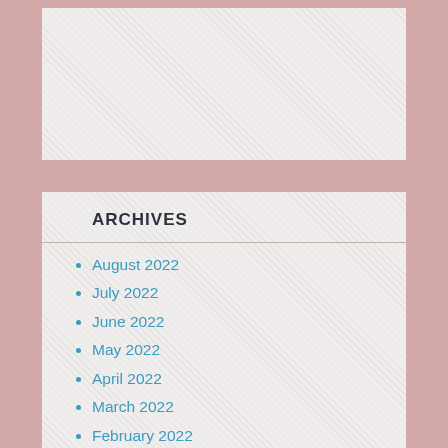[Figure (other): Gray textured panel at the top of the page]
ARCHIVES
August 2022
July 2022
June 2022
May 2022
April 2022
March 2022
February 2022
January 2022
December 2021
November 2021
October 2021
September 2021
August 2021